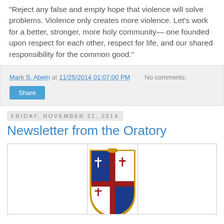“Reject any false and empty hope that violence will solve problems. Violence only creates more violence. Let’s work for a better, stronger, more holy community— one founded upon respect for each other, respect for life, and our shared responsibility for the common good.”
Mark S. Abeln at 11/25/2014 01:07:00 PM   No comments:
Share
Friday, November 21, 2014
Newsletter from the Oratory
[Figure (illustration): A heraldic coat of arms with a blue and white shield divided by a red cross. The blue quarters contain religious symbols including a cross and fleur-de-lis style ornaments. A golden orb hangs below the shield. The shield has ornate gold decorative borders.]